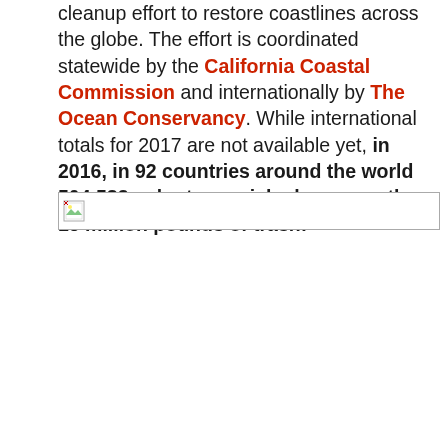cleanup effort to restore coastlines across the globe. The effort is coordinated statewide by the California Coastal Commission and internationally by The Ocean Conservancy. While international totals for 2017 are not available yet, in 2016, in 92 countries around the world 504,583 volunteers picked up more than 18 million pounds of trash!
[Figure (photo): Broken image placeholder icon representing an image that failed to load]